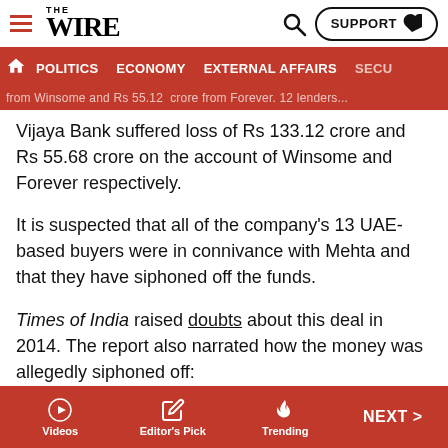THE WIRE — navigation header with POLITICS, ECONOMY, EXTERNAL AFFAIRS, SECU...
from Winsome and Rs 55.12 crore from Forever. 12 lenders...Vijaya Bank suffered loss of Rs 133.12 crore and Rs 55.68 crore on the account of Winsome and Forever respectively.
It is suspected that all of the company's 13 UAE-based buyers were in connivance with Mehta and that they have siphoned off the funds.
Times of India raised doubts about this deal in 2014. The report also narrated how the money was allegedly siphoned off:
Winsome has 13 distributors in the Middle East, of which 12 are controlled by one  Haitham Sulaiman Abu Obaida.
Videos | Editor's Pick | Trending | NEXT >